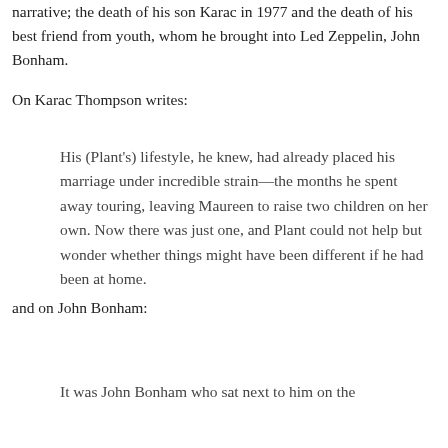narrative; the death of his son Karac in 1977 and the death of his best friend from youth, whom he brought into Led Zeppelin, John Bonham.
On Karac Thompson writes:
His (Plant's) lifestyle, he knew, had already placed his marriage under incredible strain—the months he spent away touring, leaving Maureen to raise two children on her own. Now there was just one, and Plant could not help but wonder whether things might have been different if he had been at home.
and on John Bonham:
It was John Bonham who sat next to him on the